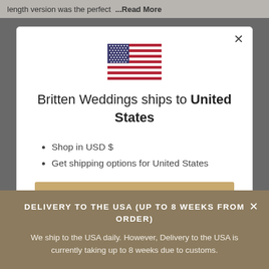length version was the perfect ...Read More
[Figure (illustration): US flag emoji/icon rendered in SVG]
Britten Weddings ships to United States
Shop in USD $
Get shipping options for United States
DELIVERY TO THE USA (UP TO 8 WEEKS FROM ORDER)
We ship to the USA daily. However, Delivery to the USA is currently taking up to 8 weeks due to customs.